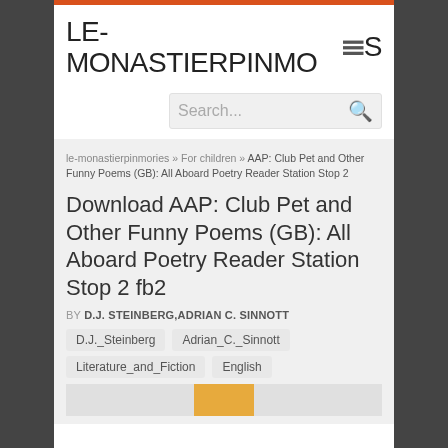LE-MONASTIERPINMORES
Search...
le-monastierpinmories » For children » AAP: Club Pet and Other Funny Poems (GB): All Aboard Poetry Reader Station Stop 2
Download AAP: Club Pet and Other Funny Poems (GB): All Aboard Poetry Reader Station Stop 2 fb2
BY D.J. STEINBERG,ADRIAN C. SINNOTT
D.J._Steinberg
Adrian_C._Sinnott
Literature_and_Fiction
English
[Figure (illustration): Book cover preview at bottom of page, partially visible, orange/yellow color]